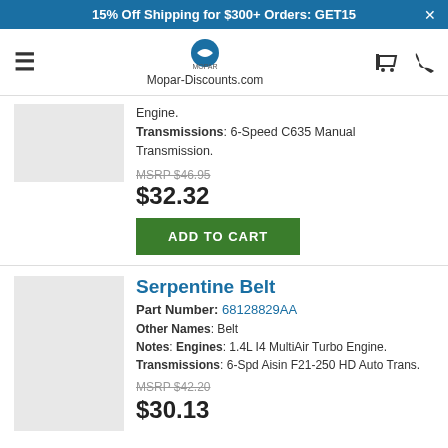15% Off Shipping for $300+ Orders: GET15
[Figure (logo): Mopar logo with Mopar-Discounts.com text, hamburger menu icon, cart icon, phone icon]
Engine.
Transmissions: 6-Speed C635 Manual Transmission.
MSRP $46.95
$32.32
ADD TO CART
Serpentine Belt
Part Number: 68128829AA
Other Names: Belt
Notes: Engines: 1.4L I4 MultiAir Turbo Engine. Transmissions: 6-Spd Aisin F21-250 HD Auto Trans.
MSRP $42.20
$30.13